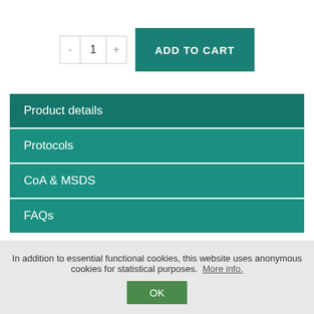[Figure (screenshot): Quantity selector with minus button, value 1, plus button, and ADD TO CART button in teal]
Product details
Protocols
CoA & MSDS
FAQs
Description: Supreme NZYProof 2× Colourless Master Mix is a premixed ready-to-use solution containing Supreme NZYProof
In addition to essential functional cookies, this website uses anonymous cookies for statistical purposes.  More info.
OK